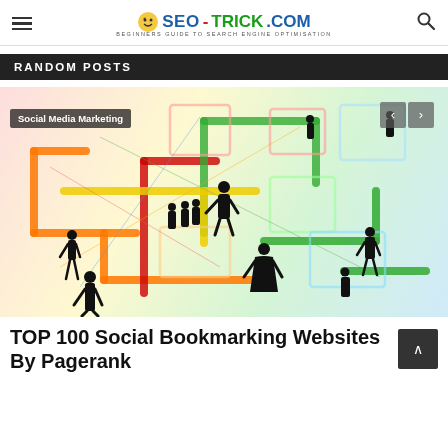SEO-TRICK.COM — Beginners Guide to Search Engine Optimisation
RANDOM POSTS
[Figure (illustration): Social media marketing concept illustration showing silhouettes of business people connected by colorful (red, green, yellow, orange) rectangular connector paths on a light pastel background, with a 'Social Media Marketing' label overlay and navigation arrows.]
TOP 100 Social Bookmarking Websites By Pagerank